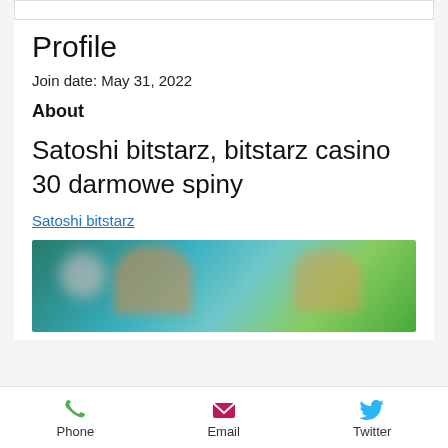Profile
Join date: May 31, 2022
About
Satoshi bitstarz, bitstarz casino 30 darmowe spiny
Satoshi bitstarz
[Figure (photo): Blurred image showing figures against a teal/green background]
Phone   Email   Twitter